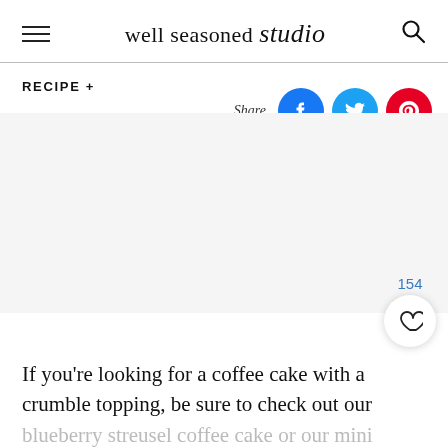well seasoned studio
RECIPE +
[Figure (screenshot): Social share icons: Facebook (blue circle with f), Twitter (light blue circle with bird), Pinterest (red circle with P)]
[Figure (photo): Large empty/white image placeholder area]
If you’re looking for a coffee cake with a crumble topping, be sure to check out our
blueberry streusel coffee cake or our mini